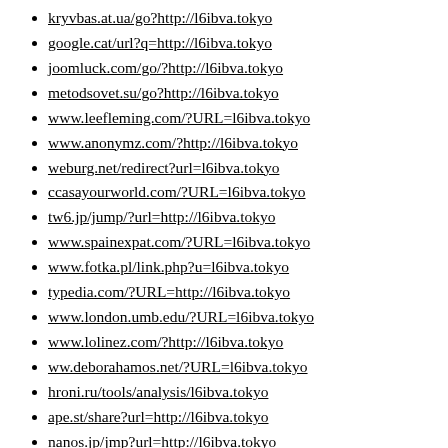kryvbas.at.ua/go?http://l6ibva.tokyo
google.cat/url?q=http://l6ibva.tokyo
joomluck.com/go/?http://l6ibva.tokyo
metodsovet.su/go?http://l6ibva.tokyo
www.leefleming.com/?URL=l6ibva.tokyo
www.anonymz.com/?http://l6ibva.tokyo
weburg.net/redirect?url=l6ibva.tokyo
ccasayourworld.com/?URL=l6ibva.tokyo
tw6.jp/jump/?url=http://l6ibva.tokyo
www.spainexpat.com/?URL=l6ibva.tokyo
www.fotka.pl/link.php?u=l6ibva.tokyo
typedia.com/?URL=http://l6ibva.tokyo
www.london.umb.edu/?URL=l6ibva.tokyo
www.lolinez.com/?http://l6ibva.tokyo
ww.deborahamos.net/?URL=l6ibva.tokyo
hroni.ru/tools/analysis/l6ibva.tokyo
ape.st/share?url=http://l6ibva.tokyo
nanos.jp/jmp?url=http://l6ibva.tokyo
www.fca.gov/?URL=http://l6ibva.tokyo